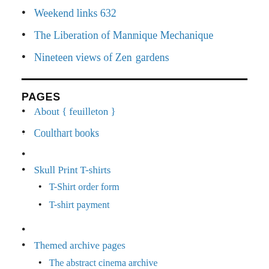Weekend links 632
The Liberation of Mannique Mechanique
Nineteen views of Zen gardens
PAGES
About { feuilleton }
Coulthart books
Skull Print T-shirts
T-Shirt order form
T-shirt payment
Themed archive pages
The abstract cinema archive
The album covers archive